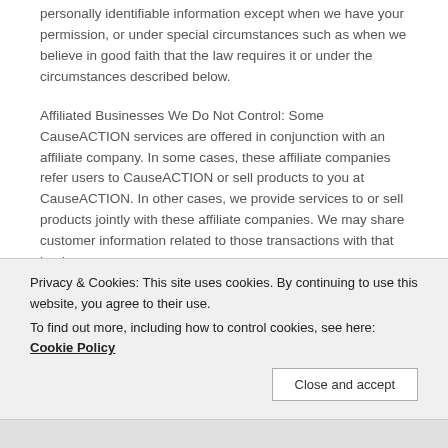personally identifiable information except when we have your permission, or under special circumstances such as when we believe in good faith that the law requires it or under the circumstances described below.
Affiliated Businesses We Do Not Control: Some CauseACTION services are offered in conjunction with an affiliate company. In some cases, these affiliate companies refer users to CauseACTION or sell products to you at CauseACTION. In other cases, we provide services to or sell products jointly with these affiliate companies. We may share customer information related to those transactions with that business.
Agents: Other companies and individuals are occasionally employed to perform functions on our behalf. Examples
Privacy & Cookies: This site uses cookies. By continuing to use this website, you agree to their use.
To find out more, including how to control cookies, see here: Cookie Policy